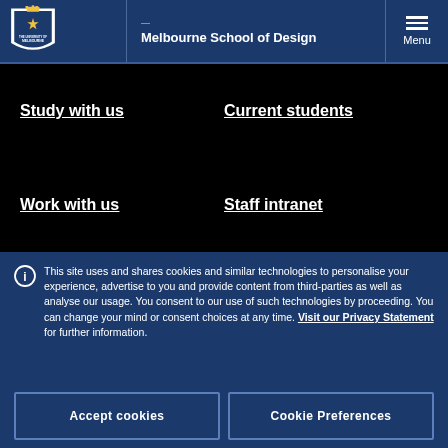Melbourne School of Design
Study with us
Current students
Work with us
Staff intranet
This site uses and shares cookies and similar technologies to personalise your experience, advertise to you and provide content from third-parties as well as analyse our usage. You consent to our use of such technologies by proceeding. You can change your mind or consent choices at any time. Visit our Privacy Statement for further information.
Accept cookies
Cookie Preferences